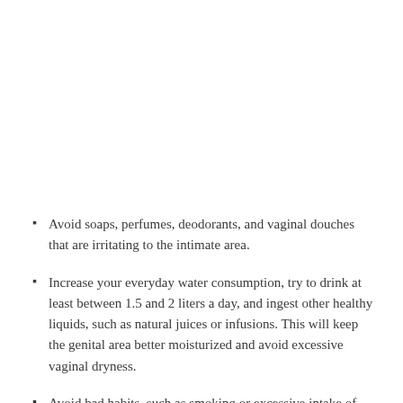Avoid soaps, perfumes, deodorants, and vaginal douches that are irritating to the intimate area.
Increase your everyday water consumption, try to drink at least between 1.5 and 2 liters a day, and ingest other healthy liquids, such as natural juices or infusions. This will keep the genital area better moisturized and avoid excessive vaginal dryness.
Avoid bad habits, such as smoking or excessive intake of